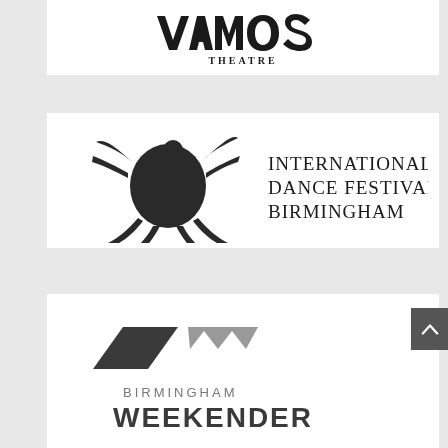[Figure (logo): Vamos Theatre logo — stylized hand-drawn text 'VAMOS' above 'THEATRE' in smaller serif capitals, dark/black on white]
[Figure (logo): International Dance Festival Birmingham logo — black silhouette of multiple dancers clustered together on the left, with 'INTERNATIONAL DANCE FESTIVAL BIRMINGHAM' in large serif capitals on the right]
[Figure (logo): Birmingham Weekender logo — two abstract chevron/arrow shapes in dark grey and mid grey on the left, with 'BIRMINGHAM' in small grey capitals and 'WEEKENDER' in large bold dark grey capitals below]